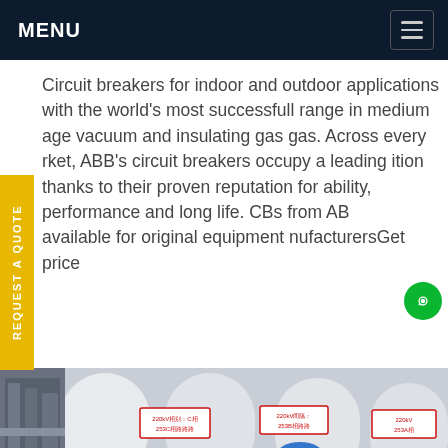MENU
Circuit breakers for indoor and outdoor applications with the world's most successfull range in medium age vacuum and insulating gas gas. Across every rket, ABB's circuit breakers occupy a leading ition thanks to their proven reputation for ability, performance and long life. CBs from ABB available for original equipment nufacturersGet price
[Figure (photo): Photo of a technician in blue hard hat working on large outdoor high-voltage circuit breaker equipment labeled 220kV, with white tank-like structures marked 253C, 253B, 253A]
REQUEST A QUOTE